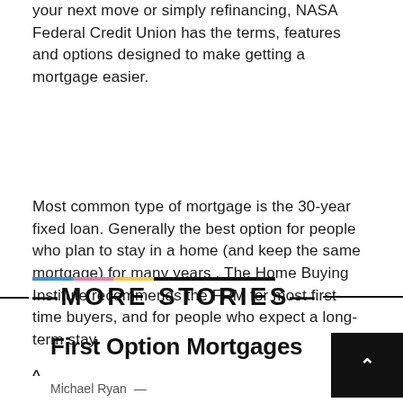your next move or simply refinancing, NASA Federal Credit Union has the terms, features and options designed to make getting a mortgage easier.
Most common type of mortgage is the 30-year fixed loan. Generally the best option for people who plan to stay in a home (and keep the same mortgage) for many years . The Home Buying Institute recommends the FRM for most first-time buyers, and for people who expect a long-term stay.
MORE STORIES
First Option Mortgages
Michael Ryan —